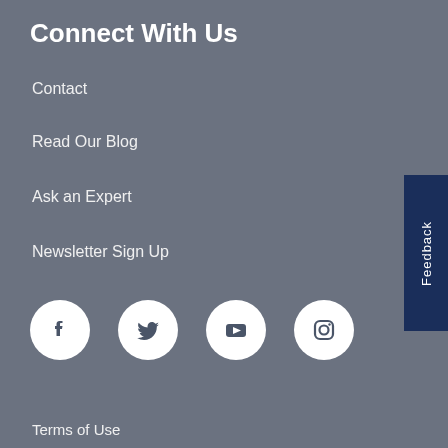Connect With Us
Contact
Read Our Blog
Ask an Expert
Newsletter Sign Up
[Figure (illustration): Four social media icons in white circles on grey background: Facebook, Twitter, YouTube, Instagram]
Terms of Use